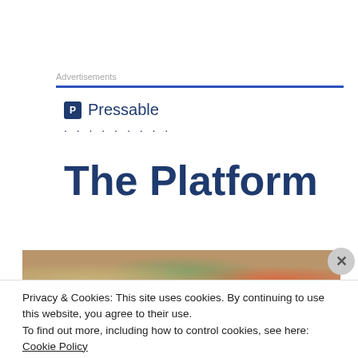Advertisements
[Figure (logo): Pressable logo with shield icon and dotted line below]
The Platform
[Figure (photo): Colorful photo strip showing market or food stalls scene]
Privacy & Cookies: This site uses cookies. By continuing to use this website, you agree to their use.
To find out more, including how to control cookies, see here: Cookie Policy
Close and accept